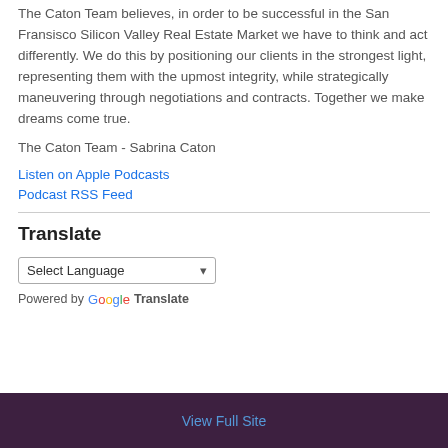The Caton Team believes, in order to be successful in the San Fransisco Silicon Valley Real Estate Market we have to think and act differently. We do this by positioning our clients in the strongest light, representing them with the upmost integrity, while strategically maneuvering through negotiations and contracts. Together we make dreams come true.
The Caton Team - Sabrina Caton
Listen on Apple Podcasts
Podcast RSS Feed
Translate
Select Language
Powered by Google Translate
View Full Site